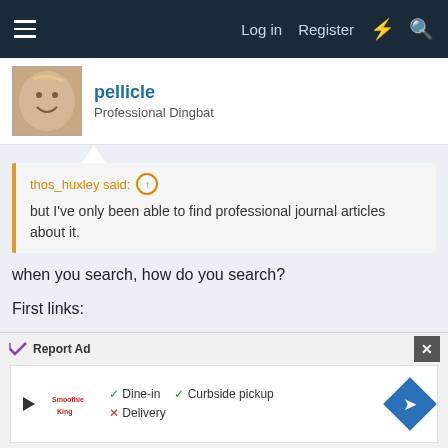Log in  Register
pellicle
Professional Dingbat
thos_huxley said: ↑
but I've only been able to find professional journal articles about it.
when you search, how do you search?
First links:
https://core.ac.uk/download/pdf/212970436.pdf
https://core.ac.uk/download/pdf/212994357.pdf
Report Ad